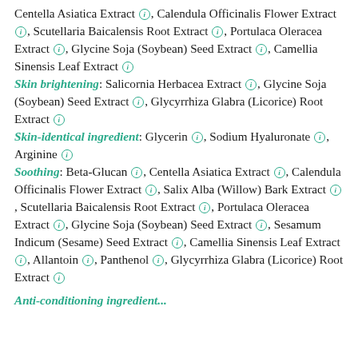Centella Asiatica Extract, Calendula Officinalis Flower Extract, Scutellaria Baicalensis Root Extract, Portulaca Oleracea Extract, Glycine Soja (Soybean) Seed Extract, Camellia Sinensis Leaf Extract
Skin brightening: Salicornia Herbacea Extract, Glycine Soja (Soybean) Seed Extract, Glycyrrhiza Glabra (Licorice) Root Extract
Skin-identical ingredient: Glycerin, Sodium Hyaluronate, Arginine
Soothing: Beta-Glucan, Centella Asiatica Extract, Calendula Officinalis Flower Extract, Salix Alba (Willow) Bark Extract, Scutellaria Baicalensis Root Extract, Portulaca Oleracea Extract, Glycine Soja (Soybean) Seed Extract, Sesamum Indicum (Sesame) Seed Extract, Camellia Sinensis Leaf Extract, Allantoin, Panthenol, Glycyrrhiza Glabra (Licorice) Root Extract